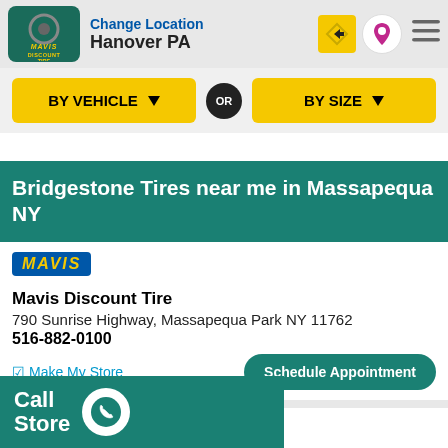Change Location Hanover PA
BY VEHICLE ▼ OR BY SIZE ▼
Bridgestone Tires near me in Massapequa NY
[Figure (logo): Mavis logo badge - blue background with yellow italic MAVIS text]
Mavis Discount Tire
790 Sunrise Highway, Massapequa Park NY 11762
516-882-0100
☑ Make My Store
Schedule Appointment
[Figure (logo): STS TIRE logo - black background with red STS and white TIRE text]
ighway, Massapequa NY 11758
Call Store